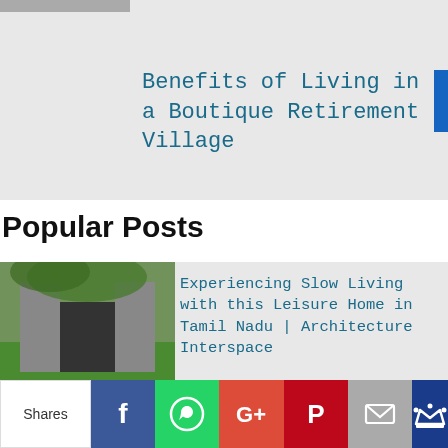[Figure (photo): Partial view of a top card with a blue accent bar on the right side and gray background]
Benefits of Living in a Boutique Retirement Village
Popular Posts
[Figure (photo): Architecture image showing a modern home with concrete walls and green lawn corridor]
Experiencing Slow Living with this Leisure Home in Tamil Nadu | Architecture Interspace
[Figure (photo): Partial image of a warm-toned interior with wooden elements]
Shares | Facebook | WhatsApp | Google+ | Pinterest | Email | Crown